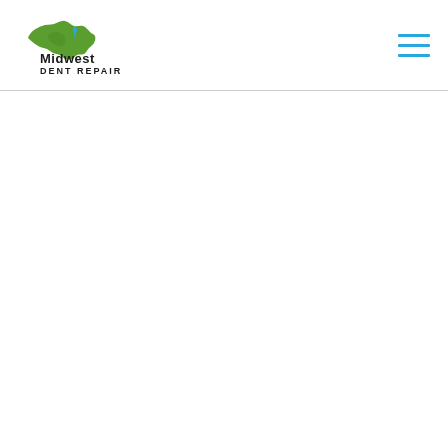[Figure (logo): Midwest Dent Repair logo with green USA map silhouette and black text reading 'Midwest DENT REPAIR']
[Figure (other): Hamburger menu icon with three horizontal blue lines]